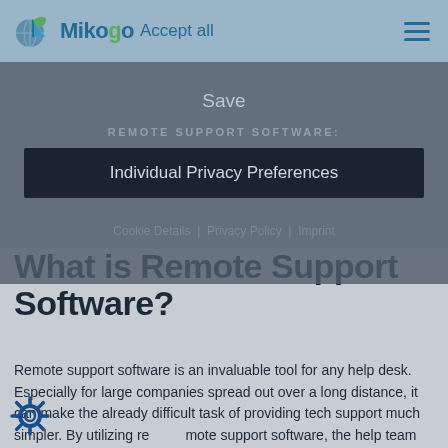[Figure (logo): Mikogo logo with blue/green sail and globe icon, followed by 'Accept all' text link]
Save
REMOTE SUPPORT SOFTWARE:
Individual Privacy Preferences
Cookie Details | Privacy Policy | Imprint
What is Remote Support Software?
Remote support software is an invaluable tool for any help desk. Especially for large companies spread out over a long distance, it can make the already difficult task of providing tech support much simpler. By utilizing remote support software, the help team will be able to remotely take control over the computer via remote